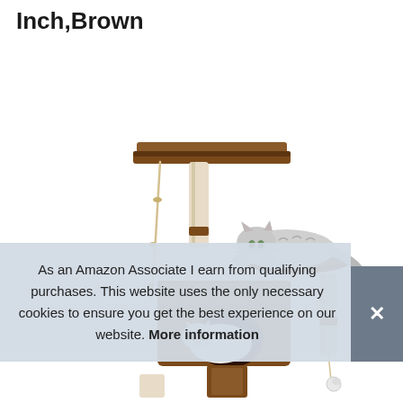Inch,Brown
[Figure (photo): A brown cat tree/tower with sisal scratching posts, a top perch platform, a middle bowl-shaped perch with a grey/white cat lounging on it, a condo/hideout box with a white cat inside, and dangling rope and pom-pom toys. The cat tree is photographed on a white background.]
As an Amazon Associate I earn from qualifying purchases. This website uses the only necessary cookies to ensure you get the best experience on our website. More information